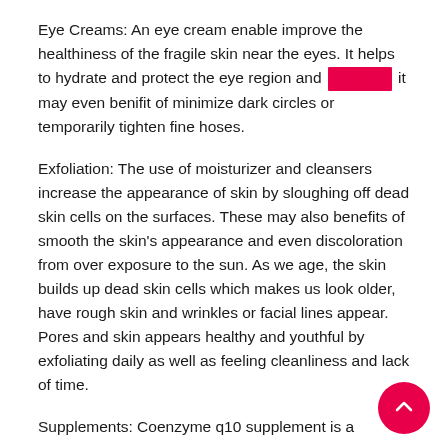Eye Creams: An eye cream enable improve the healthiness of the fragile skin near the eyes. It helps to hydrate and protect the eye region and [REDACTED] it may even benifit of minimize dark circles or temporarily tighten fine hoses.
Exfoliation: The use of moisturizer and cleansers increase the appearance of skin by sloughing off dead skin cells on the surfaces. These may also benefits of smooth the skin's appearance and even discoloration from over exposure to the sun. As we age, the skin builds up dead skin cells which makes us look older, have rough skin and wrinkles or facial lines appear. Pores and skin appears healthy and youthful by exfoliating daily as well as feeling cleanliness and lack of time.
Supplements: Coenzyme q10 supplement is a